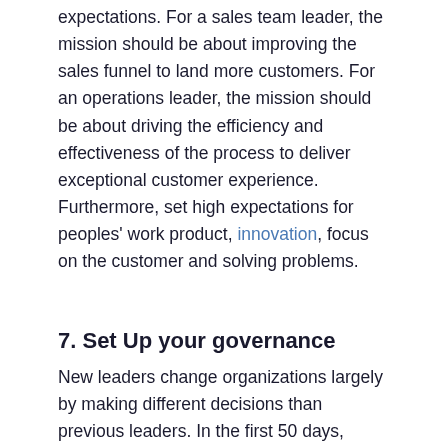expectations. For a sales team leader, the mission should be about improving the sales funnel to land more customers. For an operations leader, the mission should be about driving the efficiency and effectiveness of the process to deliver exceptional customer experience. Furthermore, set high expectations for peoples' work product, innovation, focus on the customer and solving problems.
7. Set Up your governance
New leaders change organizations largely by making different decisions than previous leaders. In the first 50 days, define the team's governance. How will decisions be made? In what forum? What